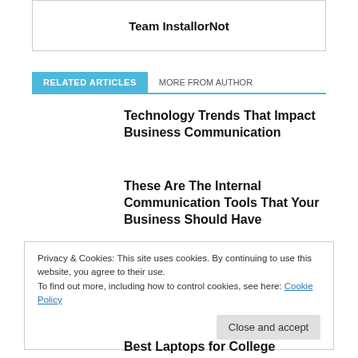Team InstallorNot
RELATED ARTICLES	MORE FROM AUTHOR
Technology Trends That Impact Business Communication
These Are The Internal Communication Tools That Your Business Should Have
Privacy & Cookies: This site uses cookies. By continuing to use this website, you agree to their use.
To find out more, including how to control cookies, see here: Cookie Policy
Close and accept
Best Laptops for College Students